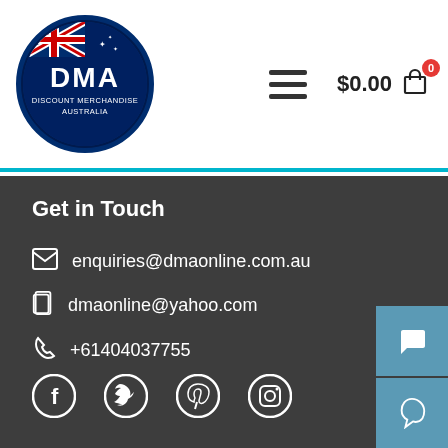[Figure (logo): DMA Discount Merchandise Australia circular logo with Australian flag, blue and red colors]
$0.00
Get in Touch
enquiries@dmaonline.com.au
dmaonline@yahoo.com
+61404037755
[Figure (illustration): Social media icons: Facebook, Twitter, Pinterest, Instagram]